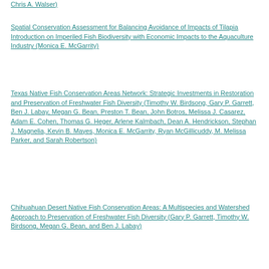Chris A. Walser)
Spatial Conservation Assessment for Balancing Avoidance of Impacts of Tilapia Introduction on Imperiled Fish Biodiversity with Economic Impacts to the Aquaculture Industry (Monica E. McGarrity)
Texas Native Fish Conservation Areas Network: Strategic Investments in Restoration and Preservation of Freshwater Fish Diversity (Timothy W. Birdsong, Gary P. Garrett, Ben J. Labay, Megan G. Bean, Preston T. Bean, John Botros, Melissa J. Casarez, Adam E. Cohen, Thomas G. Heger, Arlene Kalmbach, Dean A. Hendrickson, Stephan J. Magnelia, Kevin B. Mayes, Monica E. McGarrity, Ryan McGillicuddy, M. Melissa Parker, and Sarah Robertson)
Chihuahuan Desert Native Fish Conservation Areas: A Multispecies and Watershed Approach to Preservation of Freshwater Fish Diversity (Gary P. Garrett, Timothy W. Birdsong, Megan G. Bean, and Ben J. Labay)